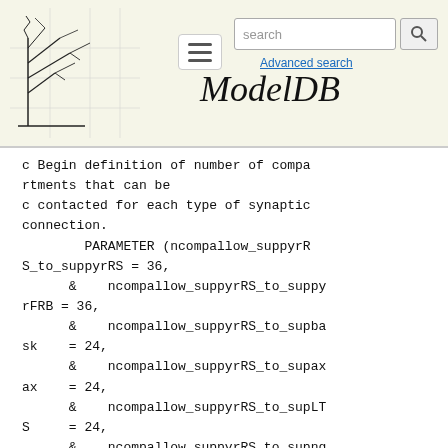[Figure (logo): ModelDB website header with tree logo, hamburger menu, search box, and ModelDB italic title]
c Begin definition of number of compartments that can be
c contacted for each type of synaptic connection.
        PARAMETER (ncompallow_suppyrRS_to_suppyrRS = 36,
      &    ncompallow_suppyrRS_to_suppyrFRB = 36,
      &    ncompallow_suppyrRS_to_supbask    = 24,
      &    ncompallow_suppyrRS_to_supaxax    = 24,
      &    ncompallow_suppyrRS_to_supLTS     = 24,
      &    ncompallow_suppyrRS_to_supng = 52,
      &    ncompallow_suppyrRS_to_spinstell = 24,
      &    ncompallow_suppyrRS_to_tuftI